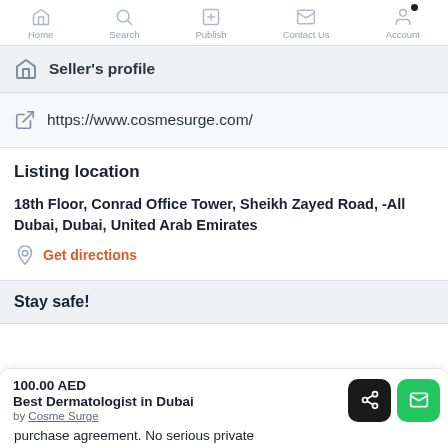Home  Search  Publish  Contact Us  Account
Seller's profile
https://www.cosmesurge.com/
Listing location
18th Floor, Conrad Office Tower, Sheikh Zayed Road, -All Dubai, Dubai, United Arab Emirates
Get directions
Stay safe!
100.00 AED
Best Dermatologist in Dubai
by Cosme Surge
purchase agreement. No serious private